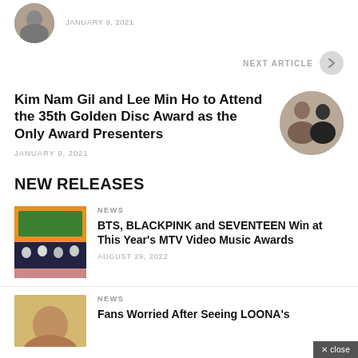JANUARY 9, 2021
NEXT ARTICLE
Kim Nam Gil and Lee Min Ho to Attend the 35th Golden Disc Award as the Only Award Presenters
JANUARY 9, 2021
NEW RELEASES
NEWS
BTS, BLACKPINK and SEVENTEEN Win at This Year's MTV Video Music Awards
AUGUST 29, 2022
NEWS
Fans Worried After Seeing LOONA's